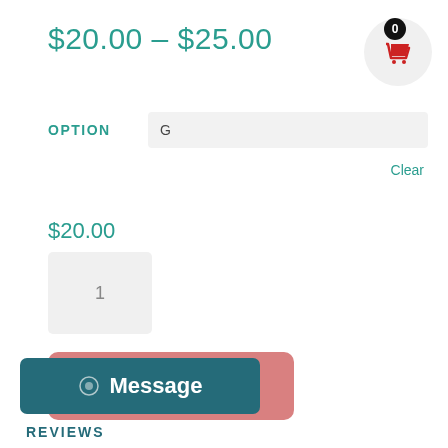$20.00 – $25.00
OPTION: G
Clear
$20.00
1
Add to cart
SKU: N/A
Message
REVIEWS